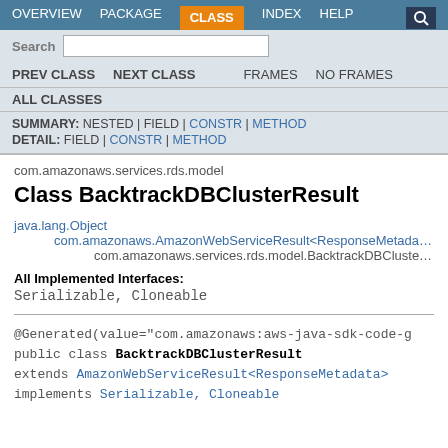OVERVIEW  PACKAGE  CLASS  INDEX  HELP  Search
PREV CLASS  NEXT CLASS  FRAMES  NO FRAMES  ALL CLASSES
SUMMARY: NESTED | FIELD | CONSTR | METHOD  DETAIL: FIELD | CONSTR | METHOD
com.amazonaws.services.rds.model
Class BacktrackDBClusterResult
java.lang.Object
    com.amazonaws.AmazonWebServiceResult<ResponseMetadata>
        com.amazonaws.services.rds.model.BacktrackDBClusterResult
All Implemented Interfaces:
Serializable, Cloneable
@Generated(value="com.amazonaws:aws-java-sdk-code-g
public class BacktrackDBClusterResult
extends AmazonWebServiceResult<ResponseMetadata>
implements Serializable, Cloneable